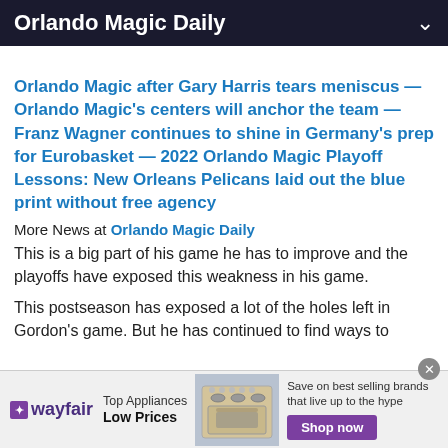Orlando Magic Daily
Orlando Magic after Gary Harris tears meniscus — Orlando Magic's centers will anchor the team — Franz Wagner continues to shine in Germany's prep for Eurobasket — 2022 Orlando Magic Playoff Lessons: New Orleans Pelicans laid out the blue print without free agency
More News at Orlando Magic Daily
This is a big part of his game he has to improve and the playoffs have exposed this weakness in his game.
This postseason has exposed a lot of the holes left in Gordon's game. But he has continued to find ways to
[Figure (infographic): Wayfair advertisement banner: Top Appliances Low Prices, image of a stove, Save on best selling brands that live up to the hype, Shop now button]